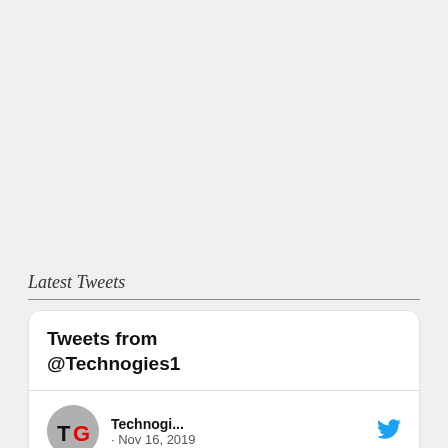Latest Tweets
[Figure (screenshot): Embedded Twitter/X widget showing tweets from @Technogies1. Displays tweet card header 'Tweets from @Technogies1', then a tweet by Technogi... dated Nov 16, 2019, with text 'Electric Bmw I4 Sedan']